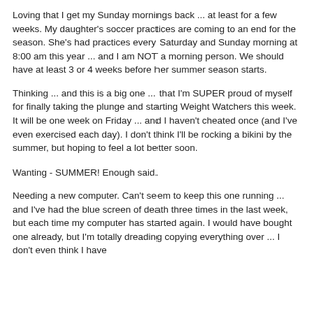Loving that I get my Sunday mornings back ... at least for a few weeks.  My daughter's soccer practices are coming to an end for the season.  She's had practices every Saturday and Sunday morning at 8:00 am this year ... and I am NOT a morning person.  We should have at least 3 or 4 weeks before her summer season starts.
Thinking ... and this is a big one ... that I'm SUPER proud of myself for finally taking the plunge and starting Weight Watchers this week.  It will be one week on Friday ... and I haven't cheated once (and I've even exercised each day).  I don't think I'll be rocking a bikini by the summer, but hoping to feel a lot better soon.
Wanting - SUMMER!  Enough said.
Needing a new computer.  Can't seem to keep this one running ... and I've had the blue screen of death three times in the last week, but each time my computer has started again.  I would have bought one already, but I'm totally dreading copying everything over ... I don't even think I have